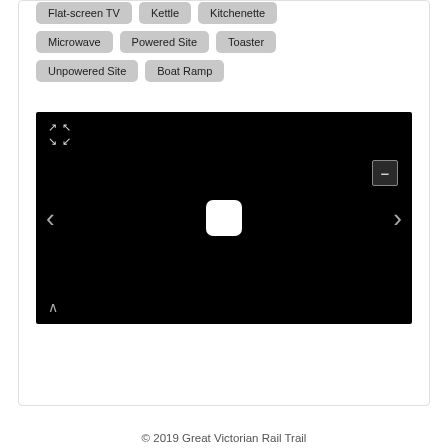Flat-screen TV
Kettle
Kitchenette
Microwave
Powered Site
Toaster
Unpowered Site
Boat Ramp
[Figure (screenshot): Interactive map viewer with black background, navigation arrows on left and right, expand icons top-left, minus zoom button top-right, white rounded rectangle in center, and up arrow bottom-left]
© 2019 Great Victorian Rail Trail